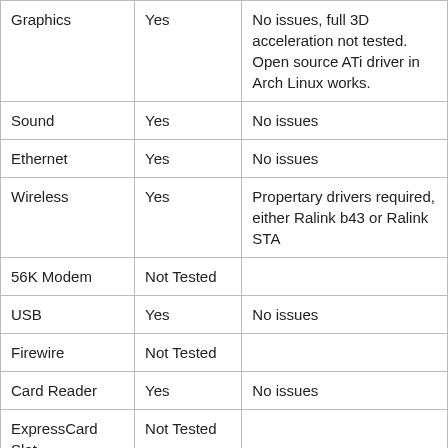| Graphics | Yes | No issues, full 3D acceleration not tested. Open source ATi driver in Arch Linux works. |
| Sound | Yes | No issues |
| Ethernet | Yes | No issues |
| Wireless | Yes | Propertary drivers required, either Ralink b43 or Ralink STA |
| 56K Modem | Not Tested |  |
| USB | Yes | No issues |
| Firewire | Not Tested |  |
| Card Reader | Yes | No issues |
| ExpressCard Slot | Not Tested |  |